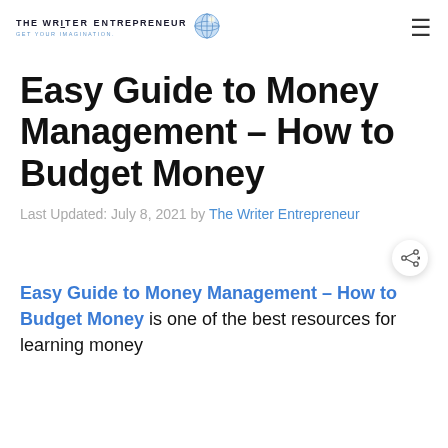The Writer Entrepreneur — Get Your Imagination.
Easy Guide to Money Management – How to Budget Money
Last Updated: July 8, 2021 by The Writer Entrepreneur
Easy Guide to Money Management – How to Budget Money is one of the best resources for learning money